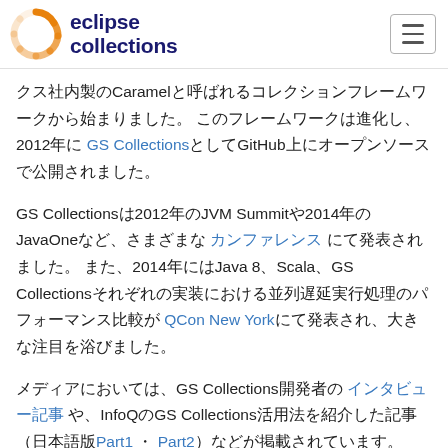eclipse collections
クス社内製のCaramelと呼ばれるコレクションフレームワークから始まりました。 このフレームワークは進化し、2012年に GS Collections としてGitHub上にオープンソースで公開されました。
GS Collectionsは2012年のJVM Summitや2014年のJavaOneなど、さまざまな カンファレンス にて発表されました。 また、2014年にはJava 8、Scala、GS Collectionsそれぞれの実装における並列遅延実行処理のパフォーマンス比較が QCon New York にて発表され、大きな注目を浴びました。
メディアにおいては、GS Collections開発者の インタビュー記事 や、InfoQのGS Collections活用法を紹介した記事（日本語版Part1 ・ Part2）などが掲載されています。